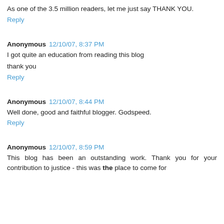As one of the 3.5 million readers, let me just say THANK YOU.
Reply
Anonymous 12/10/07, 8:37 PM
I got quite an education from reading this blog
thank you
Reply
Anonymous 12/10/07, 8:44 PM
Well done, good and faithful blogger. Godspeed.
Reply
Anonymous 12/10/07, 8:59 PM
This blog has been an outstanding work. Thank you for your contribution to justice - this was the place to come for